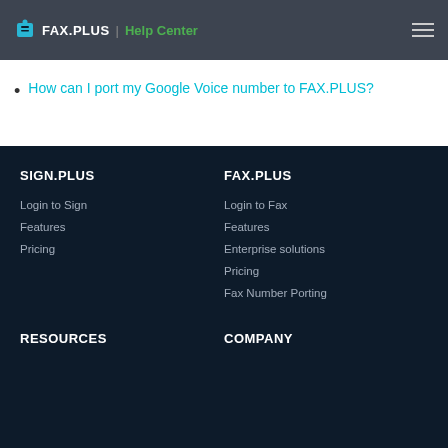FAX.PLUS | Help Center
How can I port my Google Voice number to FAX.PLUS?
SIGN.PLUS
Login to Sign
Features
Pricing
FAX.PLUS
Login to Fax
Features
Enterprise solutions
Pricing
Fax Number Porting
RESOURCES
COMPANY